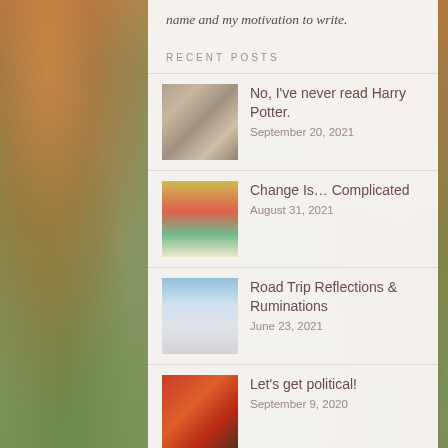name and my motivation to write.
RECENT POSTS
No, I've never read Harry Potter. | September 20, 2021
Change Is... Complicated | August 31, 2021
Road Trip Reflections & Ruminations | June 23, 2021
Let's get political! | September 9, 2020
Not Your Typical Good Friday | April 10, 2020